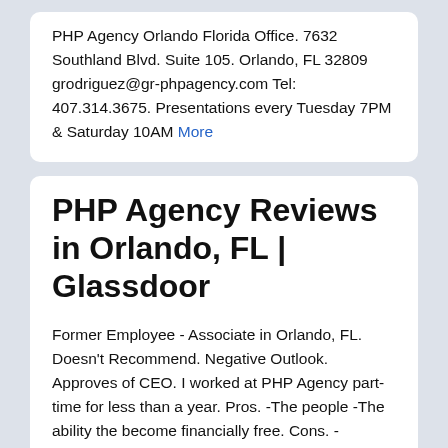PHP Agency Orlando Florida Office. 7632 Southland Blvd. Suite 105. Orlando, FL 32809 grodriguez@gr-phpagency.com Tel: 407.314.3675. Presentations every Tuesday 7PM & Saturday 10AM More
PHP Agency Reviews in Orlando, FL | Glassdoor
Former Employee - Associate in Orlando, FL. Doesn't Recommend. Negative Outlook. Approves of CEO. I worked at PHP Agency part-time for less than a year. Pros. -The people -The ability the become financially free. Cons. - recruiting in order to make more money. More
PHP Agency Orlando Altamonte Springs/Florida | USA